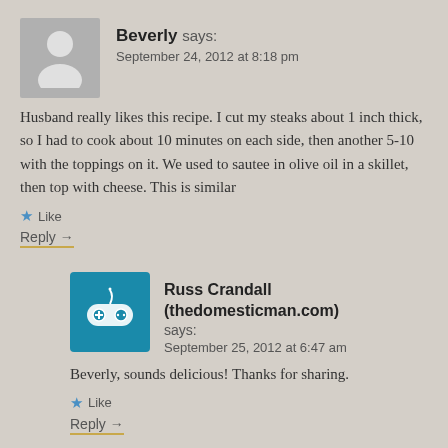[Figure (illustration): Gray avatar silhouette of a person on gray background]
Beverly says:
September 24, 2012 at 8:18 pm
Husband really likes this recipe. I cut my steaks about 1 inch thick, so I had to cook about 10 minutes on each side, then another 5-10 with the toppings on it. We used to sautee in olive oil in a skillet, then top with cheese. This is similar
★ Like
Reply →
[Figure (logo): Teal/blue square avatar with a game controller icon]
Russ Crandall (thedomesticman.com) says:
September 25, 2012 at 6:47 am
Beverly, sounds delicious! Thanks for sharing.
★ Like
Reply →